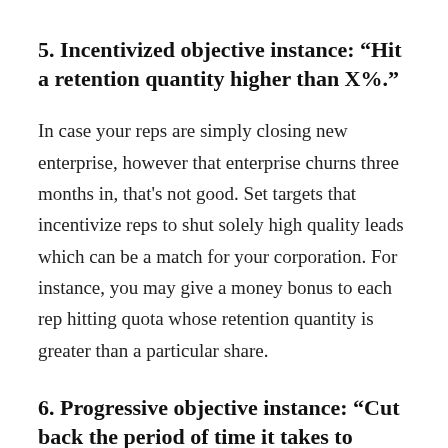5. Incentivized objective instance: “Hit a retention quantity higher than X%.”
In case your reps are simply closing new enterprise, however that enterprise churns three months in, that's not good. Set targets that incentivize reps to shut solely high quality leads which can be a match for your corporation. For instance, you may give a money bonus to each rep hitting quota whose retention quantity is greater than a particular share.
6. Progressive objective instance: “Cut back the period of time it takes to